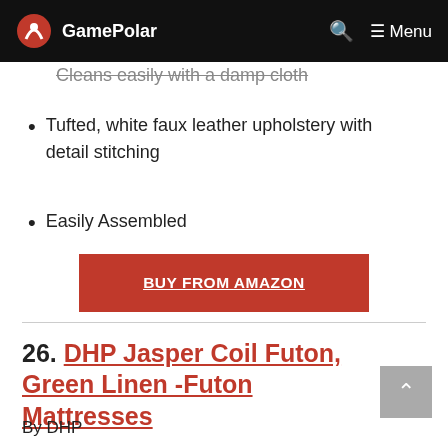GamePolar — Menu
Cleans easily with a damp cloth
Tufted, white faux leather upholstery with detail stitching
Easily Assembled
BUY FROM AMAZON
26. DHP Jasper Coil Futon, Green Linen -Futon Mattresses
By DHP